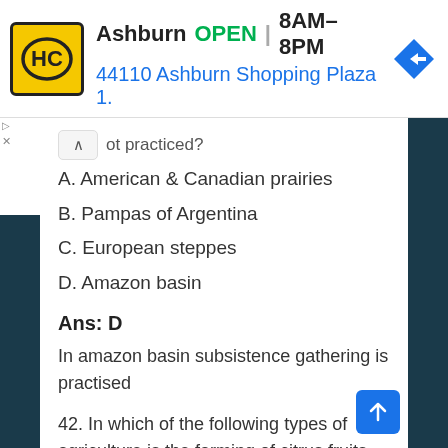[Figure (screenshot): Ad banner: HC logo, Ashburn OPEN 8AM-8PM, 44110 Ashburn Shopping Plaza 1., navigation icon]
ot practiced?
A. American & Canadian prairies
B. Pampas of Argentina
C. European steppes
D. Amazon basin
Ans: D
In amazon basin subsistence gathering is practised
42. In which of the following types of agriculture is the farming of citrus fruits